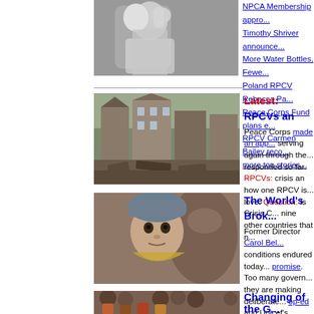[Figure (photo): Black and white photo of a woman with her hand raised to her head]
NPCA Membership appro...
Timothy Shriver announce...
More Water Bottles, Fewe...
Poland RPCV Rebecca Pa...
Peace Corps Fund plans e...
RPCV Carmen Bailey reco...
more top stories...
[Figure (photo): Photo of earthquake or disaster damage, collapsed buildings and debris]
Latest: RPCVs an...
Peace Corps made an app... serving again through the... responded so far. RPCVs:... crisis an how one RPCV is... love. Question: Is Crisis C... nine other countries that n...
[Figure (photo): Close-up photo of a young African child being held]
The World's Brok...
Former Director Carol Bel... conditions endured today... promise. Too many govern... they are making deliberate... op-ed and Unicef's report...
[Figure (photo): Crowd of people, partial image at bottom of page]
Changing of the G...